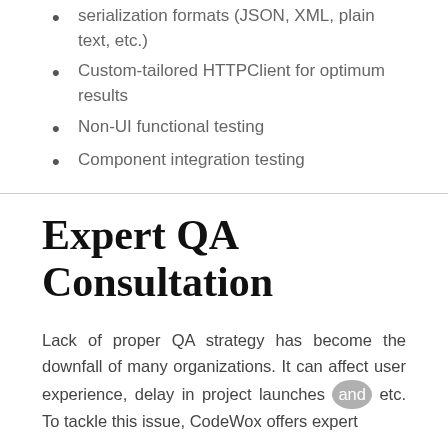serialization formats (JSON, XML, plain text, etc.)
Custom-tailored HTTPClient for optimum results
Non-UI functional testing
Component integration testing
Expert QA Consultation
Lack of proper QA strategy has become the downfall of many organizations. It can affect user experience, delay in project launches and etc. To tackle this issue, CodeWox offers expert